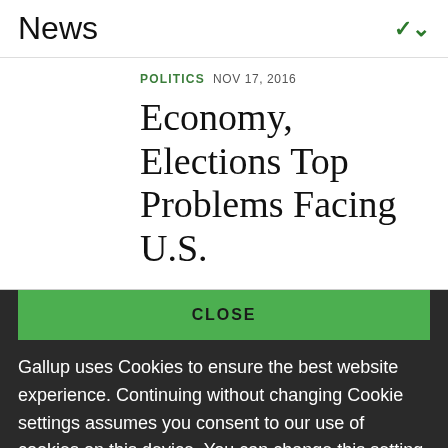News
POLITICS  NOV 17, 2016
Economy, Elections Top Problems Facing U.S.
CLOSE
Gallup uses Cookies to ensure the best website experience. Continuing without changing Cookie settings assumes you consent to our use of cookies on this device. You can change this setting at any time, but that may impair functionality on our websites.
Privacy Statement   Site Terms of Use and Sale
Product Terms of Use   Adjust your cookie settings.